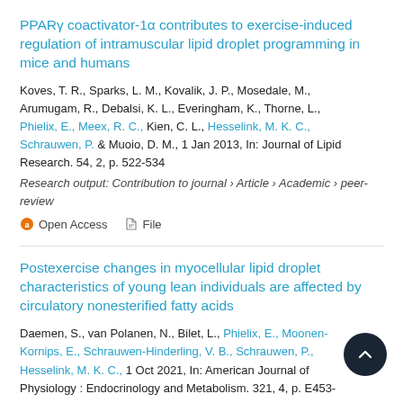PPARγ coactivator-1α contributes to exercise-induced regulation of intramuscular lipid droplet programming in mice and humans
Koves, T. R., Sparks, L. M., Kovalik, J. P., Mosedale, M., Arumugam, R., Debalsi, K. L., Everingham, K., Thorne, L., Phielix, E., Meex, R. C., Kien, C. L., Hesselink, M. K. C., Schrauwen, P. & Muoio, D. M., 1 Jan 2013, In: Journal of Lipid Research. 54, 2, p. 522-534
Research output: Contribution to journal › Article › Academic › peer-review
Open Access   File
Postexercise changes in myocellular lipid droplet characteristics of young lean individuals are affected by circulatory nonesterified fatty acids
Daemen, S., van Polanen, N., Bilet, L., Phielix, E., Moonen-Kornips, E., Schrauwen-Hinderling, V. B., Schrauwen, P., Hesselink, M. K. C., 1 Oct 2021, In: American Journal of Physiology : Endocrinology and Metabolism. 321, 4, p. E453-